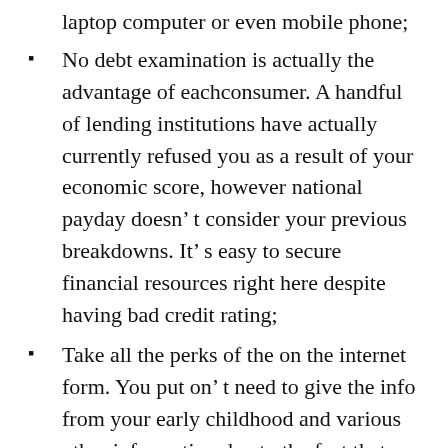laptop computer or even mobile phone;
No debt examination is actually the advantage of eachconsumer. A handful of lending institutions have actually currently refused you as a result of your economic score, however national payday doesn’ t consider your previous breakdowns. It’ s easy to secure financial resources right here despite having bad credit rating;
Take all the perks of the on the internet form. You put on’ t need to give the info from your early childhood and various other information due to the fact that our team possess a few inquiries to become responded to. It gained’ t take muchmore than 2 mins to answer all of them;
Fair lending. We developed a service that would certainly aid folks have a hard...